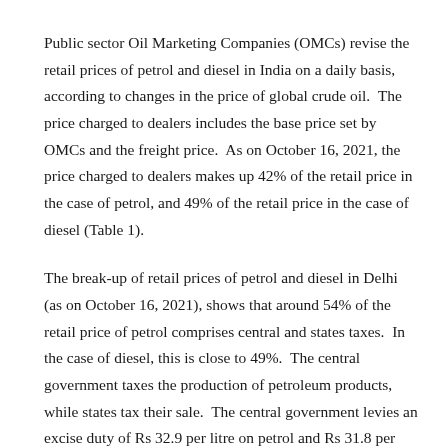Public sector Oil Marketing Companies (OMCs) revise the retail prices of petrol and diesel in India on a daily basis, according to changes in the price of global crude oil.  The price charged to dealers includes the base price set by OMCs and the freight price.  As on October 16, 2021, the price charged to dealers makes up 42% of the retail price in the case of petrol, and 49% of the retail price in the case of diesel (Table 1).
The break-up of retail prices of petrol and diesel in Delhi (as on October 16, 2021), shows that around 54% of the retail price of petrol comprises central and states taxes.  In the case of diesel, this is close to 49%.  The central government taxes the production of petroleum products, while states tax their sale.  The central government levies an excise duty of Rs 32.9 per litre on petrol and Rs 31.8 per litre on diesel.  These make up 31% and 34% of the current retail prices of petrol and diesel, respectively.